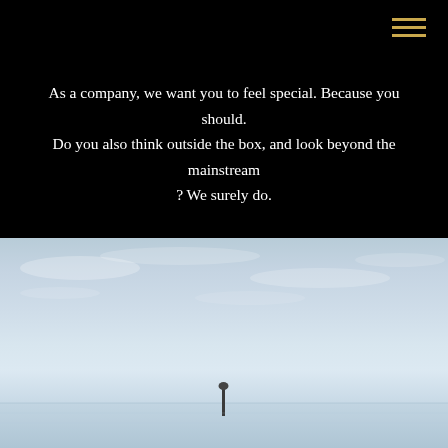[Figure (other): Hamburger menu icon with three horizontal gold/yellow lines in top right corner on black background]
As a company, we want you to feel special. Because you should. Do you also think outside the box, and look beyond the mainstream ? We surely do.
[Figure (photo): Minimalist landscape photograph of a pale blue sky over a flat calm sea or salt flat, with a tiny distant buoy or post visible at the horizon line]